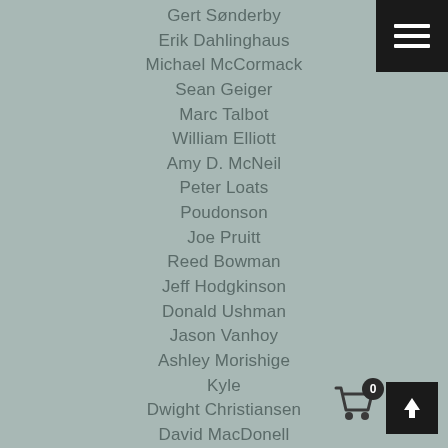Gert Sønderby
Erik Dahlinghaus
Michael McCormack
Sean Geiger
Marc Talbot
William Elliott
Amy D. McNeil
Peter Loats
Poudonson
Joe Pruitt
Reed Bowman
Jeff Hodgkinson
Donald Ushman
Jason Vanhoy
Ashley Morishige
Kyle
Dwight Christiansen
David MacDonell
Saro Marcarian
[Figure (screenshot): Hamburger menu button (top-right) and shopping cart with badge 0 and upload button (bottom-right)]